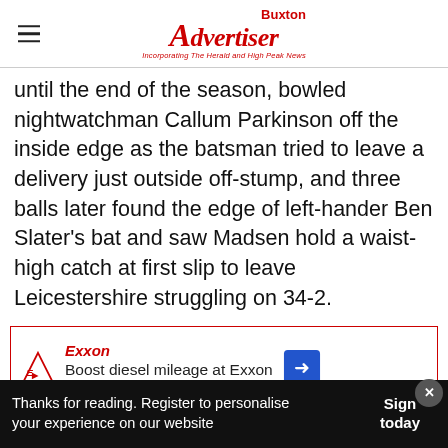Buxton Advertiser — Incorporating The Herald and High Peak News
until the end of the season, bowled nightwatchman Callum Parkinson off the inside edge as the batsman tried to leave a delivery just outside off-stump, and three balls later found the edge of left-hander Ben Slater's bat and saw Madsen hold a waist-high catch at first slip to leave Leicestershire struggling on 34-2.
[Figure (screenshot): Advertisement banner: Boost diesel mileage at Exxon, Exxon logo with direction arrow icon. Partially overlaid by a teaser strip reading 'Si... Advertiser ready, newsletter']
Thanks for reading. Register to personalise your experience on our website    Sign today